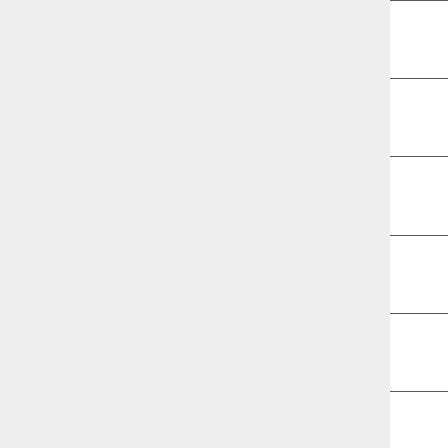| Name | Program | Date |  |
| --- | --- | --- | --- |
| Jean Duteau | Pharmacy | May 2019 |  |
| John Hatem | Pharmacy | Sep 2019 |  |
| Melva Peters | Pharmacy | Sep 2019 |  |
| Scott Robertson | Pharmacy | May 2019 |  |
| Erin Holt | Public Health | Jan 2019 |  |
| Nell Lapres | Public Health | Sep 2018 |  |
| Joginder Madra | Public Health | Sep 2018 |  |
| Craig Newman | Public Health | Sep 2019 |  |
| Laura Rappleve | Public Health | Sep 2019 |  |